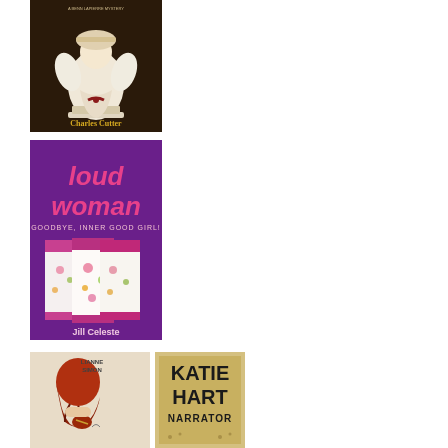[Figure (photo): Book cover: A Bern LaPierre Mystery by Charles Cutter, featuring an angel doll figure in white dress on dark background]
[Figure (photo): Book cover: 'loud woman - Goodbye, Inner Good Girl!' by Jill Celeste, purple background with floral aprons]
[Figure (photo): Book cover by Lianne Simon, showing woman with red hair from behind]
[Figure (photo): Book cover: Katie Hart Narrator, yellow/tan background with bold black text]